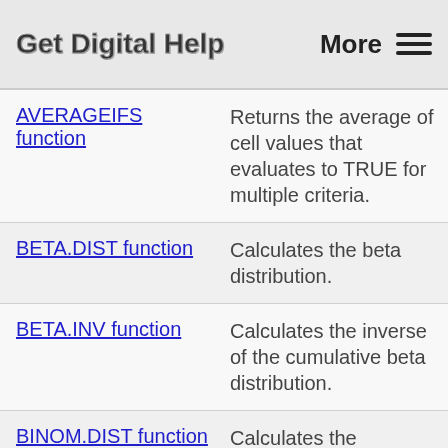Get Digital Help   More ☰
AVERAGEIFS function — Returns the average of cell values that evaluates to TRUE for multiple criteria.
BETA.DIST function — Calculates the beta distribution.
BETA.INV function — Calculates the inverse of the cumulative beta distribution.
BINOM.DIST function — Calculates the individual term binomial distribution probability.
BINOM.INV function — Calculates the minimum